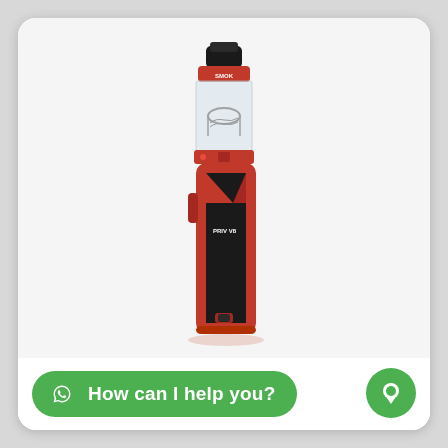[Figure (photo): A red and black vape/e-cigarette mod kit (SMOK Priv V8) with a tank atomizer on top, photographed on a white background.]
How can I help you?